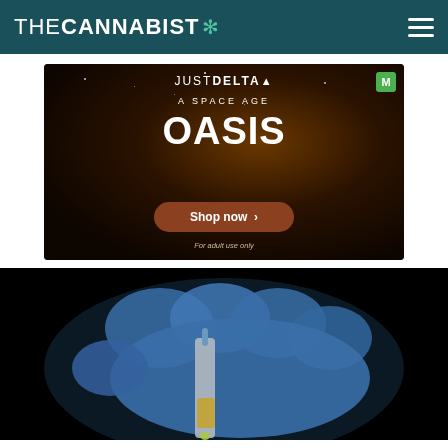THE CANNABIST
[Figure (photo): Just Delta advertisement with space theme: 'A Space Age Oasis' with product cans floating in space and a 'Shop now' button. For adult use only.]
[Figure (photo): Close-up photo of a blue-gloved hand holding a dropper bottle with liquid, on a dark background.]